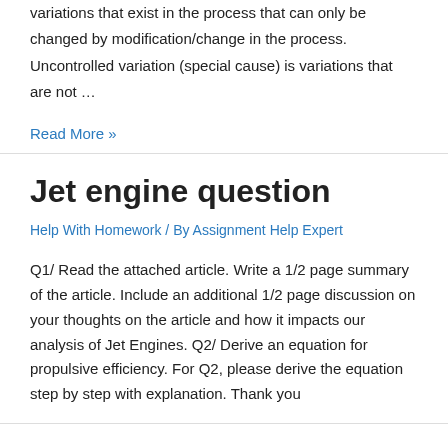variations that exist in the process that can only be changed by modification/change in the process. Uncontrolled variation (special cause) is variations that are not …
Read More »
Jet engine question
Help With Homework / By Assignment Help Expert
Q1/ Read the attached article. Write a 1/2 page summary of the article. Include an additional 1/2 page discussion on your thoughts on the article and how it impacts our analysis of Jet Engines. Q2/ Derive an equation for propulsive efficiency. For Q2, please derive the equation step by step with explanation. Thank you
68000 processor memory